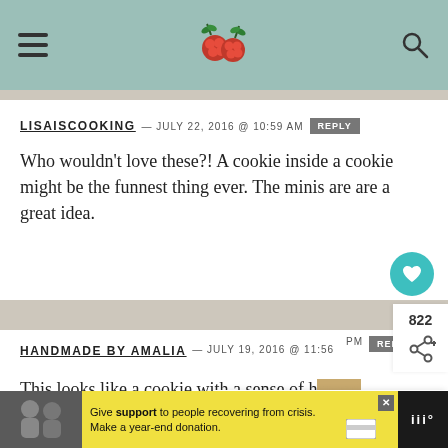LISAISCOOKING blog header with hamburger menu, raspberry logo, search icon
LISAISCOOKING — JULY 22, 2016 @ 10:59 AM  REPLY
Who wouldn't love these?! A cookie inside a cookie might be the funnest thing ever. The minis are are a great idea.
HANDMADE BY AMALIA — JULY 19, 2016 @ 11:56 PM  REPLY
This looks like a cookie with a sense of h... Like.
Amalia
[Figure (screenshot): What's Next panel showing oatmeal dried cherry recipe thumbnail]
[Figure (screenshot): Advertisement bar at bottom: Give support to people recovering from crisis. Make a year-end donation.]